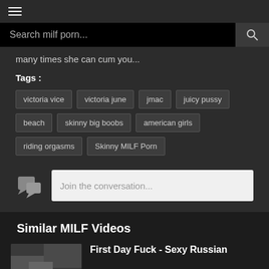≡
Search milf porn...
many times she can cum you...
Tags :
victoria vice
victoria june
jmac
juicy pussy
beach
skinny big boobs
american girls
riding orgasms
Skinny MILF Porn
Join the conversation...
Similar MILF Videos
First Day Fuck - Sexy Russian